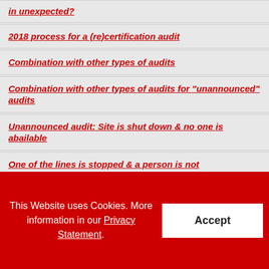in unexpected?
2018 process for a (re)certification audit
Combination with other types of audits
Combination with other types of audits for "unannounced" audits
Unannounced audit: Site is shut down & no one is abailable
One of the lines is stopped & a person is not
This Website uses Cookies. More information in our Privacy Statement.